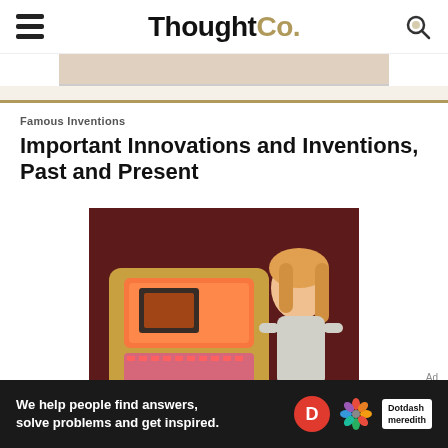ThoughtCo.
Famous Inventions
Important Innovations and Inventions, Past and Present
[Figure (photo): A woman with blonde hair standing next to a vintage jukebox with glowing pink and orange lights]
Ad
[Figure (logo): Dotdash Meredith advertisement banner with text: We help people find answers, solve problems and get inspired. Dotdash Meredith logo with red D circle and colorful flower icon.]